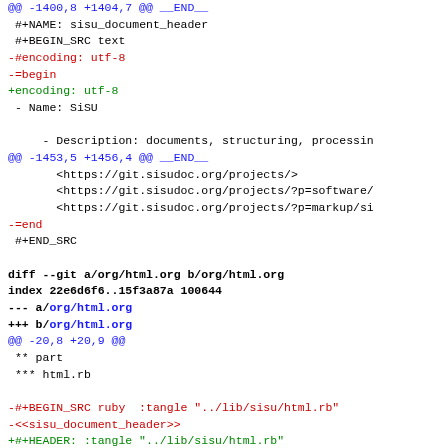@@ -1400,8 +1404,7 @@ __END__
 #+NAME: sisu_document_header
 #+BEGIN_SRC text
-#encoding: utf-8
-=begin
+encoding: utf-8
 - Name: SiSU

     - Description: documents, structuring, processing
@@ -1453,5 +1456,4 @@ __END__
       <https://git.sisudoc.org/projects/>
       <https://git.sisudoc.org/projects/?p=software/
       <https://git.sisudoc.org/projects/?p=markup/si
-=end
 #+END_SRC

diff --git a/org/html.org b/org/html.org
index 22e6d6f6..15f3a87a 100644
--- a/org/html.org
+++ b/org/html.org
@@ -20,8 +20,9 @@
 ** part
 *** html.rb

-#+BEGIN_SRC ruby  :tangle "../lib/sisu/html.rb"
-<<sisu_document_header>>
+#+HEADER: :tangle "../lib/sisu/html.rb"
+#+BEGIN_SRC ruby
+#+<<sisu_document_header>>
 -module SiSU_HTML